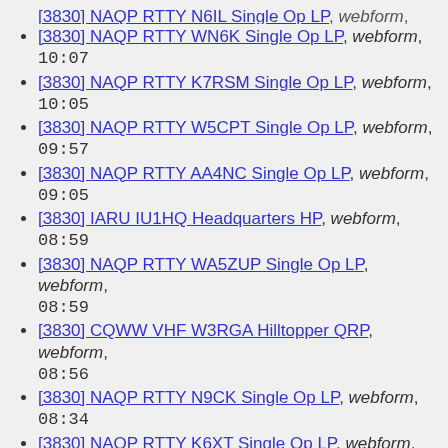[3830] NAQP RTTY N6IL Single Op LP, webform, 10:09
[3830] NAQP RTTY WN6K Single Op LP, webform, 10:07
[3830] NAQP RTTY K7RSM Single Op LP, webform, 10:05
[3830] NAQP RTTY W5CPT Single Op LP, webform, 09:57
[3830] NAQP RTTY AA4NC Single Op LP, webform, 09:05
[3830] IARU IU1HQ Headquarters HP, webform, 08:59
[3830] NAQP RTTY WA5ZUP Single Op LP, webform, 08:59
[3830] CQWW VHF W3RGA Hilltopper QRP, webform, 08:56
[3830] NAQP RTTY N9CK Single Op LP, webform, 08:34
[3830] NAQP RTTY K6XT Single Op LP, webform, 08:22
[3830] NAQP RTTY AA5VU Single Op LP, webform, 07:55
[3830] NAQP RTTY N6AR Single Op HP, webform, 07:43
[3830] NAQP RTTY KH6GMP Single Op HP, webform, 07:41
[3830] NAQP RTTY WC2Z Single Op LP, webform, 07:41